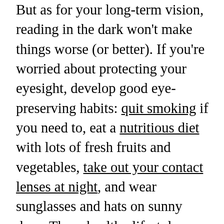But as for your long-term vision, reading in the dark won't make things worse (or better). If you're worried about protecting your eyesight, develop good eye-preserving habits: quit smoking if you need to, eat a nutritious diet with lots of fresh fruits and vegetables, take out your contact lenses at night, and wear sunglasses and hats on sunny days. These healthy lifestyle habits can also reduce your risk of macular degeneration and diabetic retinopathy.

That said, giving yourself a bit more light might be in your best interest. In addition to reducing headaches and eye fatigue, you might even read faster and finish that chapter before keeping at all it's night since both light situation